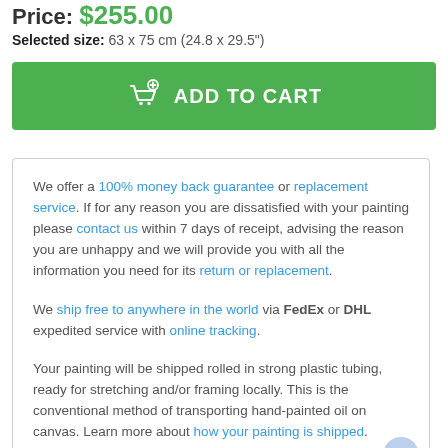Price: $255.00
Selected size: 63 x 75 cm (24.8 x 29.5")
ADD TO CART
We offer a 100% money back guarantee or replacement service. If for any reason you are dissatisfied with your painting please contact us within 7 days of receipt, advising the reason you are unhappy and we will provide you with all the information you need for its return or replacement.

We ship free to anywhere in the world via FedEx or DHL expedited service with online tracking.

Your painting will be shipped rolled in strong plastic tubing, ready for stretching and/or framing locally. This is the conventional method of transporting hand-painted oil on canvas. Learn more about how your painting is shipped.